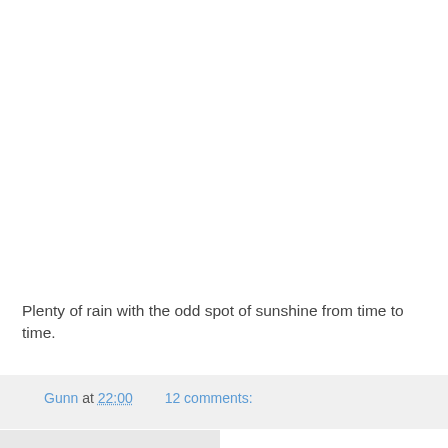Plenty of rain with the odd spot of sunshine from time to time.
Gunn at 22:00    12 comments: